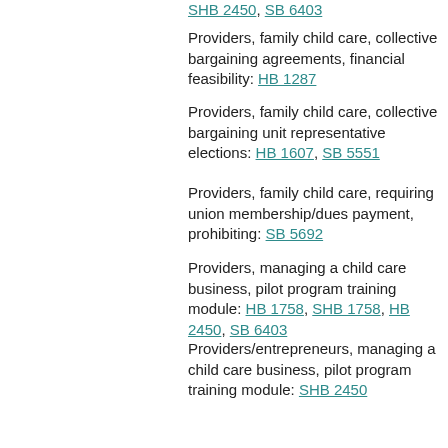Providers, family child care, collective bargaining agreements, financial feasibility: HB 1287
Providers, family child care, collective bargaining unit representative elections: HB 1607, SB 5551
Providers, family child care, requiring union membership/dues payment, prohibiting: SB 5692
Providers, managing a child care business, pilot program training module: HB 1758, SHB 1758, HB 2450, SB 6403
Providers/entrepreneurs, managing a child care business, pilot program training module: SHB 2450
Seasonal child care, transferring all DSHS duties to DCYF: * HB 2816, CH 52 (2018), SB 6441
Trauma-informed care, advisory group and provider and administrator training: HB 1638, SHB 1639
Trauma-informed care, advisory group and provider training: * EHB 2861, CH 231 (2018)
Trauma-informed care, early childhood mental health training and consultation program: SHB 1712